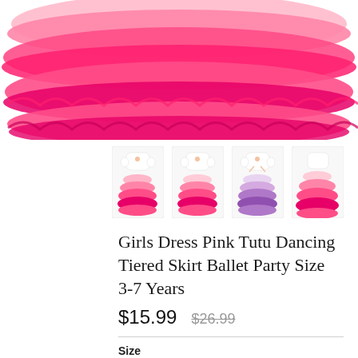[Figure (photo): Main product photo showing close-up of pink layered tutu skirt with hot pink ruffled tiers, cropped at top]
[Figure (photo): Row of 4 thumbnail images of girls ballet tutu dresses in varying pink shades and angles]
Girls Dress Pink Tutu Dancing Tiered Skirt Ballet Party Size 3-7 Years
$15.99 $26.99
Size
3 Years